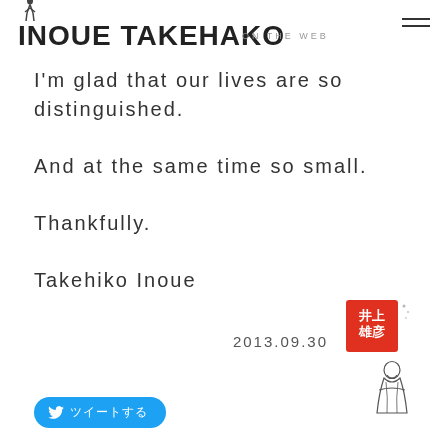INOUE TAKEHAKO ON THE WEB
I'm glad that our lives are so distinguished.
And at the same time so small.
Thankfully.
Takehiko Inoue
2013.09.30
[Figure (illustration): Red square stamp with Japanese kanji characters and a sketch of a seated figure in traditional Japanese clothing]
[Figure (logo): Twitter bird icon with Japanese text on a blue rounded button]